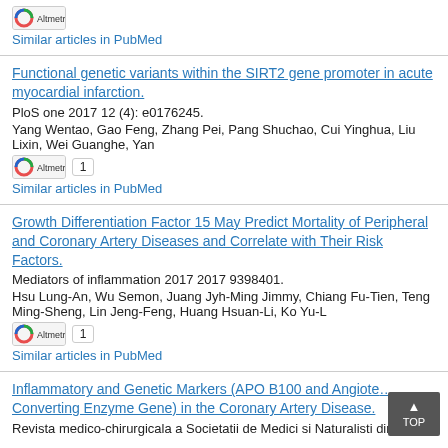[Figure (other): Altmetric badge icon]
Similar articles in PubMed
Functional genetic variants within the SIRT2 gene promoter in acute myocardial infarction.
PloS one 2017 12 (4): e0176245.
Yang Wentao, Gao Feng, Zhang Pei, Pang Shuchao, Cui Yinghua, Liu Lixin, Wei Guanghe, Yan
[Figure (other): Altmetric badge with score 1]
Similar articles in PubMed
Growth Differentiation Factor 15 May Predict Mortality of Peripheral and Coronary Artery Diseases and Correlate with Their Risk Factors.
Mediators of inflammation 2017 2017 9398401.
Hsu Lung-An, Wu Semon, Juang Jyh-Ming Jimmy, Chiang Fu-Tien, Teng Ming-Sheng, Lin Jeng-Feng, Huang Hsuan-Li, Ko Yu-L
[Figure (other): Altmetric badge with score 1]
Similar articles in PubMed
Inflammatory and Genetic Markers (APO B100 and Angiotensin Converting Enzyme Gene) in the Coronary Artery Disease.
Revista medico-chirurgicala a Societatii de Medici si Naturalisti din